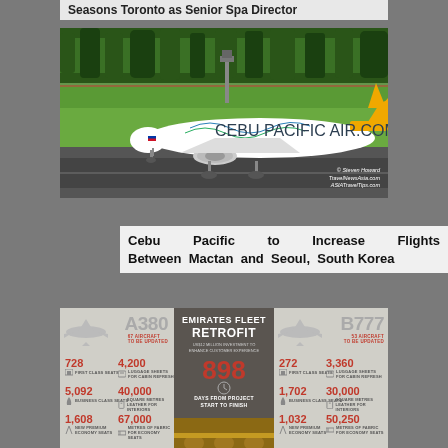Seasons Toronto as Senior Spa Director
[Figure (photo): Cebu Pacific Air airplane on tarmac, white and yellow livery with CEBU PACIFIC AIR.COM text. Photo credit: © Steven Howard TravelNewsAsia.com ASIATravelTips.com]
Cebu Pacific to Increase Flights Between Mactan and Seoul, South Korea
[Figure (infographic): Emirates Fleet Retrofit infographic. A380: 67 aircraft to be updated. 728 first class seats, 4,200 luggage sheets for cabin refresh, 5,092 business class seats, 40,000 square metres leather for interiors, 1,608 new premium economy seats, 67,000 metres of fabric for economy seats. B777: 53 aircraft to be updated. 272 first class seats, 3,360 luggage sheets for cabin refresh, 1,702 business class seats, 30,000 square metres leather for interiors, 1,032 new premium economy seats, 50,250 metres of fabric for economy seats. 898 days from project start to finish. US$12 million investment to enhance customer experience.]